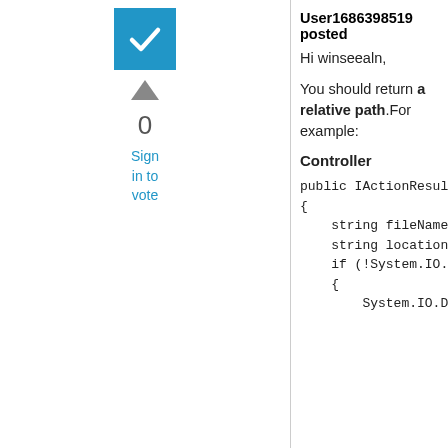[Figure (other): Blue checkbox with white checkmark icon]
[Figure (other): Grey upward-pointing arrow for voting]
0
Sign in to vote
User1686398519 posted
Hi winseealn,
You should return a relative path.For example:
Controller
public IActionResult UploadFi
{
    string fileName = Guid.New
    string location = Directory.G
    if (!System.IO.Directory.Exi
    {
        System.IO.Directory.Crea